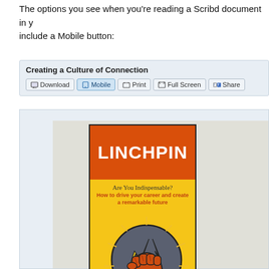The options you see when you're reading a Scribd document in y... include a Mobile button:
[Figure (screenshot): Screenshot of Scribd document reader UI showing title 'Creating a Culture of Connection' with toolbar buttons: Download, Mobile (active/highlighted), Print, Full Screen, Share]
[Figure (illustration): Book cover of 'Linchpin: Are You Indispensable? How to drive your career and create a remarkable future' — orange top banner with white bold LINCHPIN text, yellow lower section with a fist holding a lightning bolt inside a dark circle]